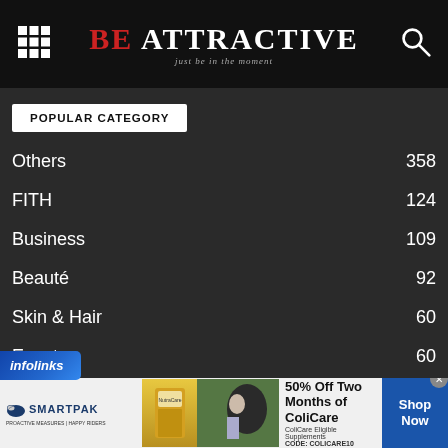BE ATTRACTIVE – just be in the moment
POPULAR CATEGORY
Others 358
FITH 124
Business 109
Beauté 92
Skin & Hair 60
Events 60
Women 57
[Figure (screenshot): infolinks ad label banner at bottom left]
[Figure (photo): SmartPak advertisement banner with horse and rider photo, 50% Off Two Months of ColiCare promotion, ColiCare Eligible Supplements, CODE: COLICARE10, Shop Now button]